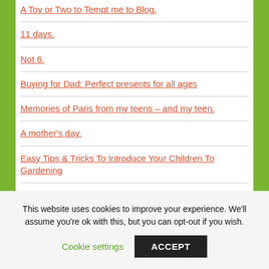A Toy or Two to Tempt me to Blog.
11 days.
Not 6.
Buying for Dad: Perfect presents for all ages
Memories of Paris from my teens – and my teen.
A mother's day.
Easy Tips & Tricks To Introduce Your Children To Gardening
This website uses cookies to improve your experience. We'll assume you're ok with this, but you can opt-out if you wish.
Cookie settings  ACCEPT